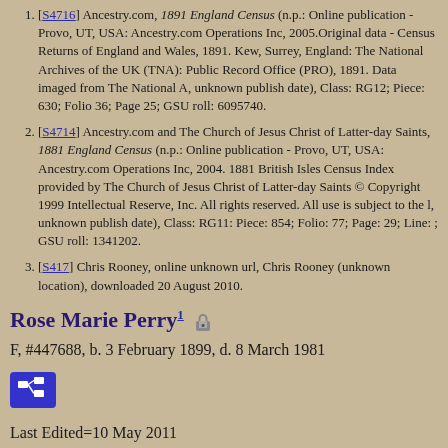[S4716] Ancestry.com, 1891 England Census (n.p.: Online publication - Provo, UT, USA: Ancestry.com Operations Inc, 2005.Original data - Census Returns of England and Wales, 1891. Kew, Surrey, England: The National Archives of the UK (TNA): Public Record Office (PRO), 1891. Data imaged from The National A, unknown publish date), Class: RG12; Piece: 630; Folio 36; Page 25; GSU roll: 6095740.
[S4714] Ancestry.com and The Church of Jesus Christ of Latter-day Saints, 1881 England Census (n.p.: Online publication - Provo, UT, USA: Ancestry.com Operations Inc, 2004. 1881 British Isles Census Index provided by The Church of Jesus Christ of Latter-day Saints © Copyright 1999 Intellectual Reserve, Inc. All rights reserved. All use is subject to the l, unknown publish date), Class: RG11: Piece: 854; Folio: 77; Page: 29; Line: ; GSU roll: 1341202.
[S417] Chris Rooney, online unknown url, Chris Rooney (unknown location), downloaded 20 August 2010.
Rose Marie Perry
F, #447688, b. 3 February 1899, d. 8 March 1981
Last Edited=10 May 2011